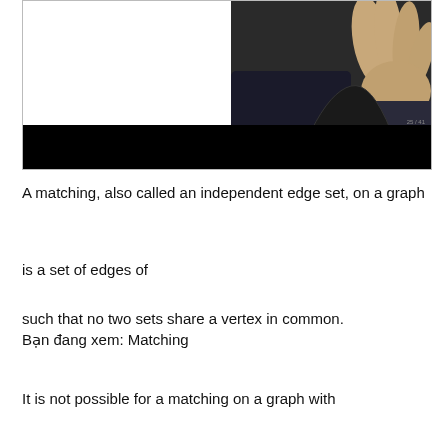[Figure (screenshot): Video player screenshot showing a hand with fingers raised on a dark background, with a black bar at the bottom and a page indicator showing 25/41]
A matching, also called an independent edge set, on a graph
is a set of edges of
such that no two sets share a vertex in common.
Bạn đang xem: Matching
It is not possible for a matching on a graph with